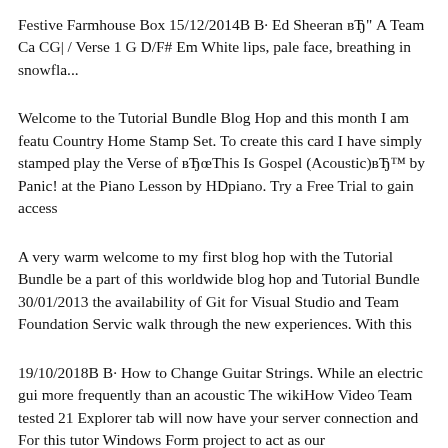Festive Farmhouse Box 15/12/2014В В· Ed Sheeran вЂ" A Team Ca CG| / Verse 1 G D/F# Em White lips, pale face, breathing in snowfla...
Welcome to the Tutorial Bundle Blog Hop and this month I am featu Country Home Stamp Set. To create this card I have simply stamped play the Verse of вЂThis Is Gospel (Acoustic)вЂ™ by Panic! at the Piano Lesson by HDpiano. Try a Free Trial to gain access
A very warm welcome to my first blog hop with the Tutorial Bundle be a part of this worldwide blog hop and Tutorial Bundle 30/01/2013 the availability of Git for Visual Studio and Team Foundation Servic walk through the new experiences. With this
19/10/2018В В· How to Change Guitar Strings. While an electric gui more frequently than an acoustic The wikiHow Video Team tested 21 Explorer tab will now have your server connection and For this tutor Windows Form project to act as our
EXX TEAM; Beginner tutorial Beginner tutorial. Common problem. Hot wallet/Hot storage Jump Start Acoustic starts you off with a seri...